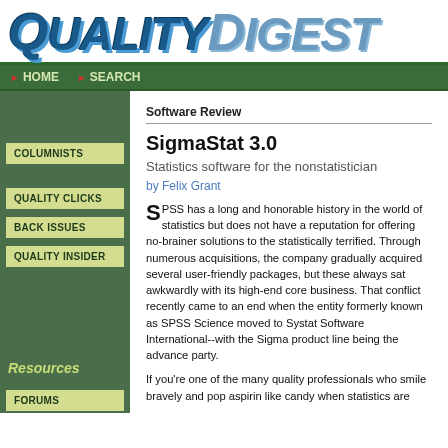[Figure (logo): Quality Digest logo — 'QUALITY' in bold dark blue italic, 'DIGEST' in lighter blue italic]
HOME  SEARCH
COLUMNISTS
QUALITY CLICKS
BACK ISSUES
QUALITY INSIDER
Resources
FORUMS
Software Review
SigmaStat 3.0
Statistics software for the nonstatistician
by Felix Grant
SPSS has a long and honorable history in the world of statistics but does not have a reputation for offering no-brainer solutions to the statistically terrified. Through numerous acquisitions, the company gradually acquired several user-friendly packages, but these always sat awkwardly with its high-end core business. That conflict recently came to an end when the entity formerly known as SPSS Science moved to Systat Software International--with the Sigma product line being the advance party.
If you're one of the many quality professionals who smile bravely and pop aspirin like candy when statistics are